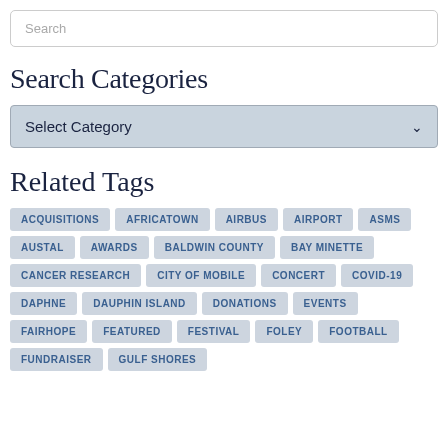Search
Search Categories
Select Category
Related Tags
ACQUISITIONS
AFRICATOWN
AIRBUS
AIRPORT
ASMS
AUSTAL
AWARDS
BALDWIN COUNTY
BAY MINETTE
CANCER RESEARCH
CITY OF MOBILE
CONCERT
COVID-19
DAPHNE
DAUPHIN ISLAND
DONATIONS
EVENTS
FAIRHOPE
FEATURED
FESTIVAL
FOLEY
FOOTBALL
FUNDRAISER
GULF SHORES